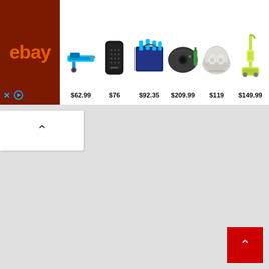[Figure (screenshot): eBay advertisement banner showing 6 products with prices: $62.99 (reciprocating saw), $76 (Bluetooth speaker), $92.35 (power tool kit), $209.99 (robot vacuum), $119 (wireless earbuds), $149.99 (steam mop)]
[Figure (screenshot): Scroll-up chevron button in white rounded box]
[Figure (screenshot): Red scroll-to-top button with upward chevron in bottom right corner]